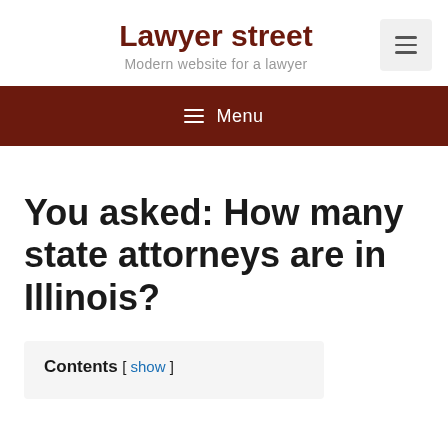Lawyer street — Modern website for a lawyer
You asked: How many state attorneys are in Illinois?
Contents [ show ]